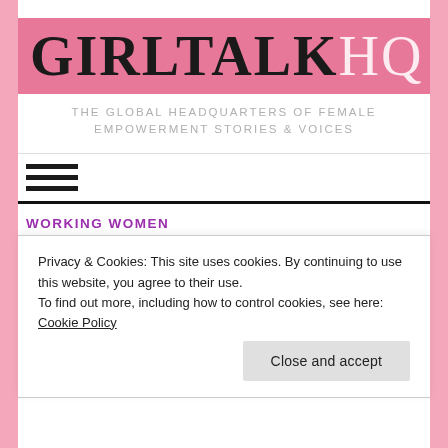[Figure (logo): GirlTalkHQ logo — pink banner with 'GIRLTALK' in black serif and 'HQ' in white serif]
THE GLOBAL HEADQUARTERS OF FEMALE EMPOWERMENT STORIES & VOICES
[Figure (other): Hamburger menu icon — three horizontal black bars]
WORKING WOMEN
Student Loan Debt: A...
Privacy & Cookies: This site uses cookies. By continuing to use this website, you agree to their use.
To find out more, including how to control cookies, see here: Cookie Policy
Close and accept